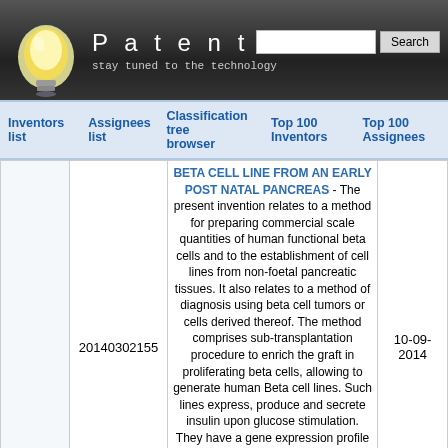Patentdocs — stay tuned to the technology
Inventors list | Assignees list | Classification tree browser | Top 100 Inventors | Top 100 Assignees
|  | Patent Number | Description | Date |
| --- | --- | --- | --- |
|  | 20140302155 | BETA CELL LINE FROM AN EARLY POST NATAL PANCREAS - The present invention relates to a method for preparing commercial scale quantities of human functional beta cells and to the establishment of cell lines from non-foetal pancreatic tissues. It also relates to a method of diagnosis using beta cell tumors or cells derived thereof. The method comprises sub-transplantation procedure to enrich the graft in proliferating beta cells, allowing to generate human Beta cell lines. Such lines express, produce and secrete insulin upon glucose stimulation. They have a gene expression profile that resembles to adult beta cells. In addition, the human beta cell lines are able to normalize glycemia of diabetic mice when transplanted, demonstrating their insulin secretion | 10-09-2014 |